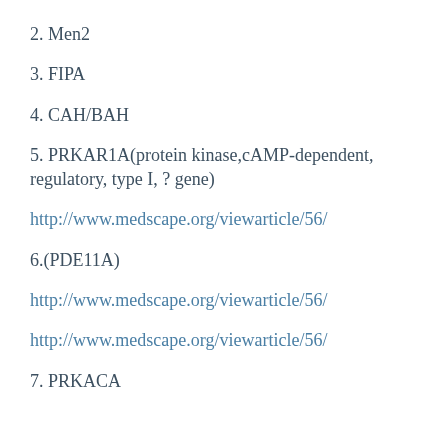2. Men2
3. FIPA
4. CAH/BAH
5. PRKAR1A(protein kinase,cAMP-dependent, regulatory, type I, ? gene)
http://www.medscape.org/viewarticle/56/
6.(PDE11A)
http://www.medscape.org/viewarticle/56/
http://www.medscape.org/viewarticle/56/
7. PRKACA